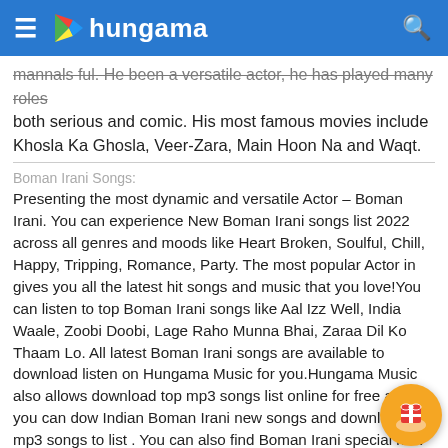hungama
mannals ful. He been a versatile actor, he has played many roles both serious and comic. His most famous movies include Khosla Ka Ghosla, Veer-Zara, Main Hoon Na and Waqt.
Boman Irani Songs:
Presenting the most dynamic and versatile Actor – Boman Irani. You can experience New Boman Irani songs list 2022 across all genres and moods like Heart Broken, Soulful, Chill, Happy, Tripping, Romance, Party. The most popular Actor in gives you all the latest hit songs and music that you love!You can listen to top Boman Irani songs like Aal Izz Well, India Waale, Zoobi Doobi, Lage Raho Munna Bhai, Zaraa Dil Ko Thaam Lo. All latest Boman Irani songs are available to download listen on Hungama Music for you.Hungama Music also allows download top mp3 songs list online for free and you can dow Indian Boman Irani new songs and download mp3 songs to list . You can also find Boman Irani special new & latest playlists with only Boman Irani songs.All hits Boman Irani songs are available on Hungama Music that you can listen online and also get free mp3 downloads. Listen to your favourite Boman Irani top Bollywood songs online in HD quality like never before. We not only have hits Bollywood songs of Boman Irani but also all hit regional songs on Hungama Music.You can also listen to popular albums with Boman Irani songs like 3 Idiots Original Motion